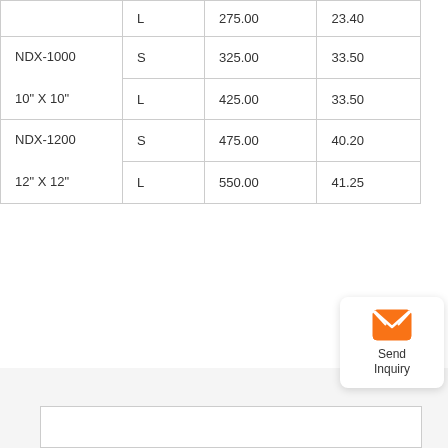| Model | Size | Col3 | Col4 |
| --- | --- | --- | --- |
|  | L | 275.00 | 23.40 |
| NDX-1000
10" X 10" | S | 325.00 | 33.50 |
| NDX-1000
10" X 10" | L | 425.00 | 33.50 |
| NDX-1200
12" X 12" | S | 475.00 | 40.20 |
| NDX-1200
12" X 12" | L | 550.00 | 41.25 |